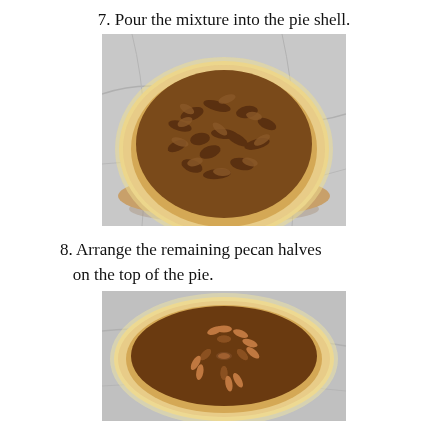7. Pour the mixture into the pie shell.
[Figure (photo): A pecan pie in a pie shell with many chopped pecans visible on top, sitting on a marble surface.]
8. Arrange the remaining pecan halves on the top of the pie.
[Figure (photo): A pecan pie with whole pecan halves arranged in a decorative pattern on top, viewed from above.]